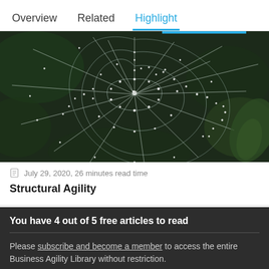Overview   Related   Highlight
[Figure (photo): Close-up photograph of a spider web covered in dew drops against a dark green foliage background. The web radiates outward from a central point with concentric rings, forming a classic orb-weaver pattern.]
July 29, 2020, 26 minutes read time
Structural Agility
You have 4 out of 5 free articles to read
Please subscribe and become a member to access the entire Business Agility Library without restriction.